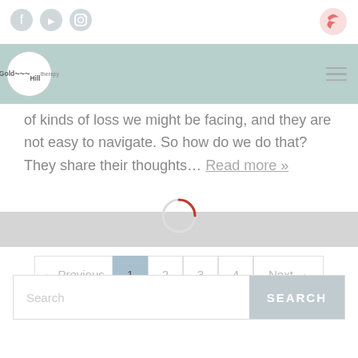[Figure (logo): Social media icons: Facebook, YouTube, Instagram circles in light gray, and a pink/red proxy icon at top right]
[Figure (logo): Gold Hill logo in white circle on teal/mint navigation bar with hamburger menu lines at right]
of kinds of loss we might be facing, and they are not easy to navigate. So how do we do that? They share their thoughts… Read more »
[Figure (other): Loading spinner with gray background bar and partial red/dark circle arc spinner]
[Figure (other): Pagination navigation: ← Previous | 1 | 2 | 3 | 4 | Next →]
[Figure (screenshot): Search input box with placeholder 'Search' and SEARCH button in gray-blue]